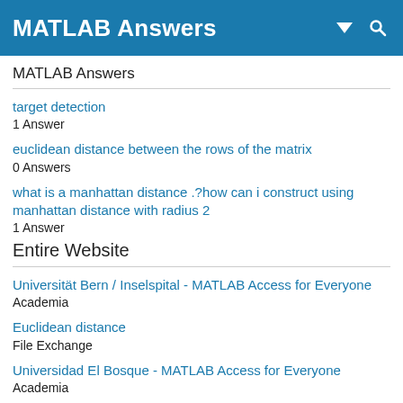MATLAB Answers
MATLAB Answers
target detection
1 Answer
euclidean distance between the rows of the matrix
0 Answers
what is a manhattan distance .?how can i construct using manhattan distance with radius 2
1 Answer
Entire Website
Universität Bern / Inselspital - MATLAB Access for Everyone
Academia
Euclidean distance
File Exchange
Universidad El Bosque - MATLAB Access for Everyone
Academia